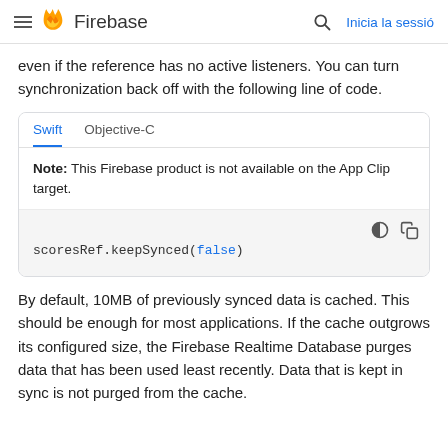Firebase — Inicia la sessió
even if the reference has no active listeners. You can turn synchronization back off with the following line of code.
Note: This Firebase product is not available on the App Clip target.
scoresRef.keepSynced(false)
By default, 10MB of previously synced data is cached. This should be enough for most applications. If the cache outgrows its configured size, the Firebase Realtime Database purges data that has been used least recently. Data that is kept in sync is not purged from the cache.